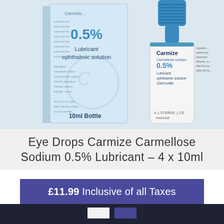[Figure (photo): Product photo showing Carmize Carmellose Sodium 0.5% Lubricant ophthalmic solution — a blue and white box labeled '10ml Bottle' alongside a small white dropper bottle with a blue cap, both branded 'Carmize'. The box shows text including '0.5%', 'Lubricant ophthalmic solution', and '10ml Bottle'. The bottle shows 'Carmize Carmellose sodium 0.5% Lubricant ophthalmic solution 10ml bottle'.]
Eye Drops Carmize Carmellose Sodium 0.5% Lubricant – 4 x 10ml
£11.99 Inclusive of all Taxes